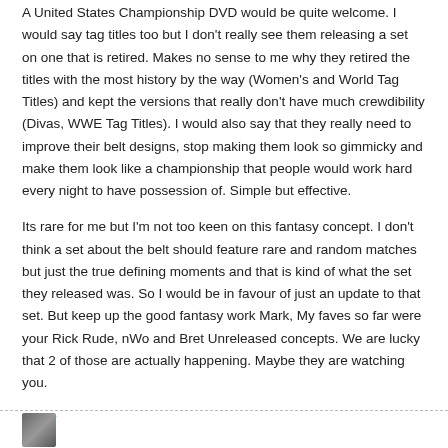A United States Championship DVD would be quite welcome. I would say tag titles too but I don't really see them releasing a set on one that is retired. Makes no sense to me why they retired the titles with the most history by the way (Women's and World Tag Titles) and kept the versions that really don't have much crewdibility (Divas, WWE Tag Titles). I would also say that they really need to improve their belt designs, stop making them look so gimmicky and make them look like a championship that people would work hard every night to have possession of. Simple but effective.
Its rare for me but I'm not too keen on this fantasy concept. I don't think a set about the belt should feature rare and random matches but just the true defining moments and that is kind of what the set they released was. So I would be in favour of just an update to that set. But keep up the good fantasy work Mark, My faves so far were your Rick Rude, nWo and Bret Unreleased concepts. We are lucky that 2 of those are actually happening. Maybe they are watching you.
Reply